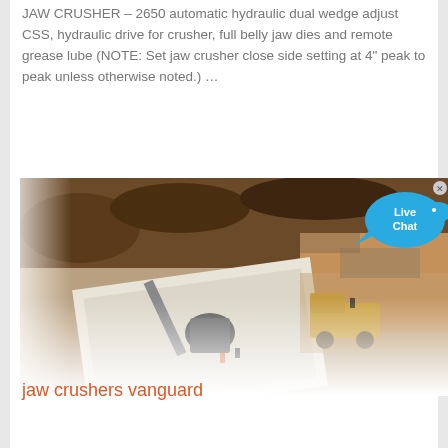JAW CRUSHER – 2650 automatic hydraulic dual wedge adjust CSS, hydraulic drive for crusher, full belly jaw dies and remote grease lube (NOTE: Set jaw crusher close side setting at 4" peak to peak unless otherwise noted.) …
[Figure (photo): Aerial photograph of a mining/quarrying site showing a large jaw crusher installation on a white concrete platform, surrounded by excavated earth. A yellow dump truck is visible on the right side, along with workers and heavy machinery. The image has a faded white vignette on the lower edge.]
jaw crushers vanguard